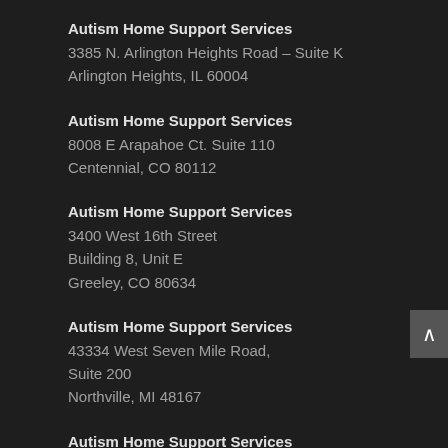Autism Home Support Services
3385 N. Arlington Heights Road – Suite K
Arlington Heights, IL 60004
Autism Home Support Services
8008 E Arapahoe Ct. Suite 110
Centennial, CO 80112
Autism Home Support Services
3400 West 16th Street
Building 8, Unit E
Greeley, CO 80634
Autism Home Support Services
43334 West Seven Mile Road,
Suite 200
Northville, MI 48167
Autism Home Support Services
7177 Crimson Ridge, Suite 10
Rockford, IL 61107